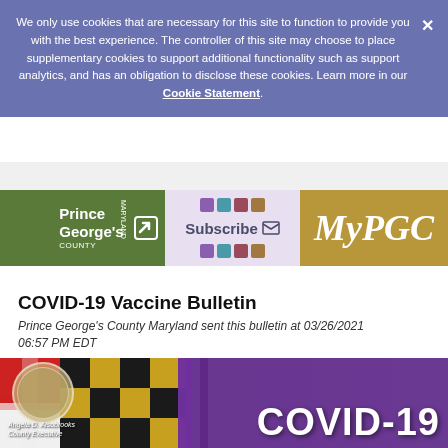We only use cookies that are necessary for this site to function to provide you with the best experience. The controller of this site may choose to place supplementary cookies to support additional functionality such as support analytics, and has an obligation to disclose these cookies. Learn more in our Cookie Statement.
[Figure (logo): Prince George's County Maryland MyPGC subscription banner with green county logo section, colorful subscribe section, and gold MyPGC section]
COVID-19 Vaccine Bulletin
Prince George's County Maryland sent this bulletin at 03/26/2021 06:57 PM EDT
[Figure (photo): COVID-19 vaccine bulletin header image showing Maryland flag, Prince George's County seal with Angela D. Alsobrooks County Executive label, purple background, and COVID-19 text overlay]